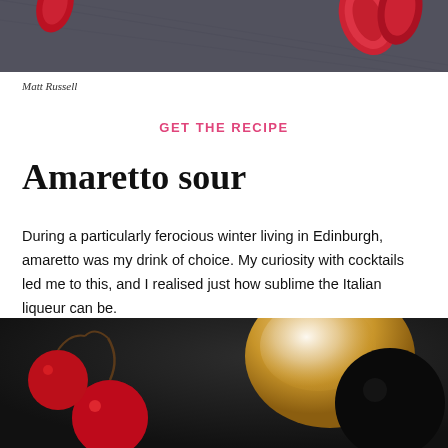[Figure (photo): Top cropped food/drink photo showing dark fabric background with red flower petals]
Matt Russell
GET THE RECIPE
Amaretto sour
During a particularly ferocious winter living in Edinburgh, amaretto was my drink of choice. My curiosity with cocktails led me to this, and I realised just how sublime the Italian liqueur can be.
[Figure (photo): Bottom cropped photo showing red cherries and a cocktail glass with amber liquid on dark background]